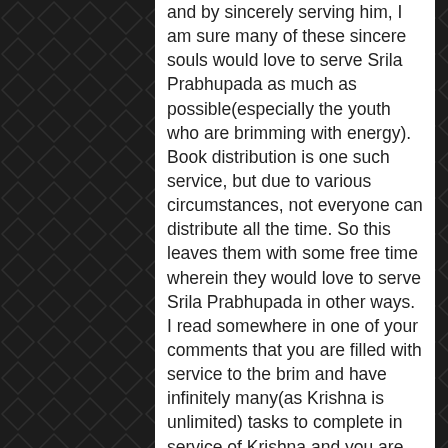and by sincerely serving him, I am sure many of these sincere souls would love to serve Srila Prabhupada as much as possible(especially the youth who are brimming with energy). Book distribution is one such service, but due to various circumstances, not everyone can distribute all the time. So this leaves them with some free time wherein they would love to serve Srila Prabhupada in other ways. I read somewhere in one of your comments that you are filled with service to the brim and have infinitely many(as Krishna is unlimited) tasks to complete in service of Krishna and you are engaged 100+ hours/week in serving Krishna.
So in short is it possible to assign some of these tasks to these sincere souls who are very eager to serve Krishna and advance in KC? I know there are many challenges(geographical, not knowing purity of person, etc) but perhaps this